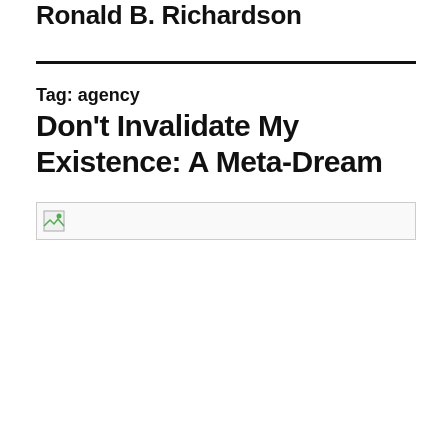Ronald B. Richardson
Tag: agency
Don't Invalidate My Existence: A Meta-Dream
[Figure (photo): Image placeholder with broken image icon]